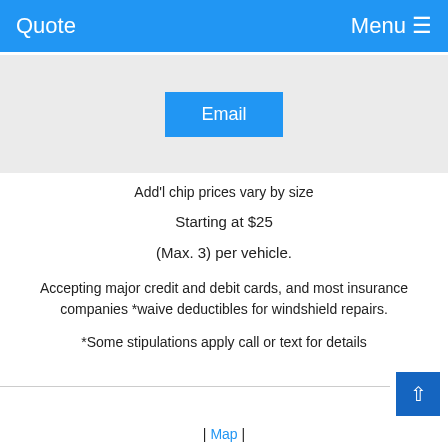Quote   Menu ≡
[Figure (other): Email button on light gray background]
Add'l chip prices vary by size
Starting at $25
(Max. 3) per vehicle.
Accepting major credit and debit cards, and most insurance companies *waive deductibles for windshield repairs.
*Some stipulations apply call or text for details
| Map |